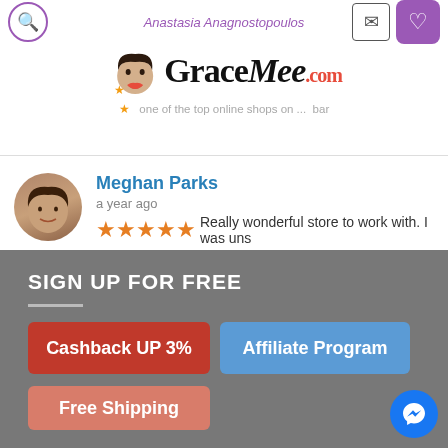GraceMee.com — Anastasia Anagnostopoulos
Meghan Parks — a year ago — 5 stars — Really wonderful store to work with. I was uns...
Nadia B. — a year ago — 5 stars — I love everything I get from GraceMee. Their s...
SIGN UP FOR FREE
Cashback UP 3%
Affiliate Program
Free Shipping